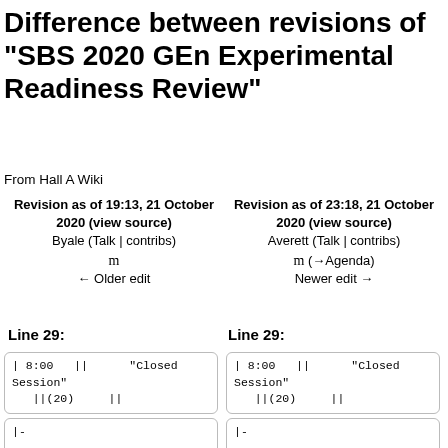Difference between revisions of "SBS 2020 GEn Experimental Readiness Review"
From Hall A Wiki
| Left revision | Right revision |
| --- | --- |
| Revision as of 19:13, 21 October 2020 (view source)
Byale (Talk | contribs)
m
← Older edit | Revision as of 23:18, 21 October 2020 (view source)
Averett (Talk | contribs)
m (→Agenda)
Newer edit → |
Line 29:
Line 29:
| 8:00  ||      "Closed Session"
||(20)     ||
| 8:00  ||      "Closed Session"
||(20)     ||
|-
|-
| 8:20  ||      Remarks from
Chairman Chapter"...
| 8:20  ||      Remarks from
Chairman Chapter"...